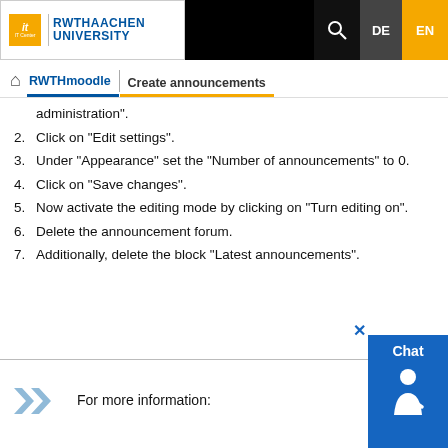RWTH Aachen University IT Center - RWTHmoodle | Create announcements
administration".
2. Click on "Edit settings".
3. Under "Appearance" set the "Number of announcements" to 0.
4. Click on "Save changes".
5. Now activate the editing mode by clicking on "Turn editing on".
6. Delete the announcement forum.
7. Additionally, delete the block "Latest announcements".
For more information: